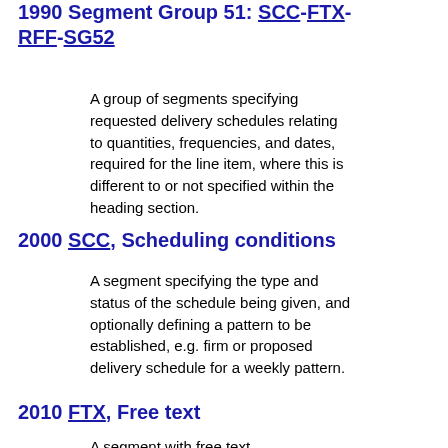1990 Segment Group 51: SCC-FTX-RFF-SG52
A group of segments specifying requested delivery schedules relating to quantities, frequencies, and dates, required for the line item, where this is different to or not specified within the heading section.
2000 SCC, Scheduling conditions
A segment specifying the type and status of the schedule being given, and optionally defining a pattern to be established, e.g. firm or proposed delivery schedule for a weekly pattern.
2010 FTX, Free text
A segment with free text.